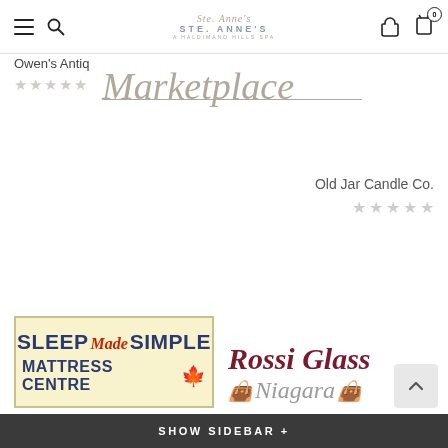[Figure (screenshot): Website navigation bar for Ste. Anne's A Haldimand Hills Spa with hamburger menu, search icon, spa logo, user icon, and cart icon showing 0 items]
[Figure (logo): Owen's Antiq marketplace logo with script Marketplace text, underline, and empty star rating]
Old Jar Candle Co.
[Figure (logo): Five empty star rating for Old Jar Candle Co.]
[Figure (logo): Sleep Made Simple Mattress Centre logo on yellow background with maple leaf]
[Figure (logo): Rossi Glass Niagara logo in dark red italic script with decorative elements]
SHOW SIDEBAR +